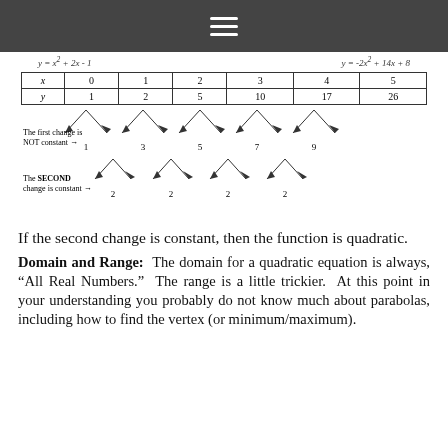≡
[Figure (other): Table of x and y values with first and second difference arrows diagram. x: 0,1,2,3,4,5; y: 1,2,5,10,17,26. First differences: 1,3,5,7,9. Second differences: 2,2,2,2. Labels: 'The first change is NOT constant →' and 'The SECOND change is constant →'.]
If the second change is constant, then the function is quadratic.
Domain and Range: The domain for a quadratic equation is always, "All Real Numbers." The range is a little trickier. At this point in your understanding you probably do not know much about parabolas, including how to find the vertex (or minimum/maximum).